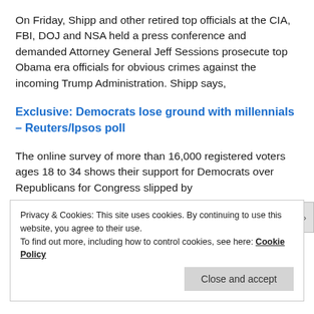On Friday, Shipp and other retired top officials at the CIA, FBI, DOJ and NSA held a press conference and demanded Attorney General Jeff Sessions prosecute top Obama era officials for obvious crimes against the incoming Trump Administration. Shipp says,
Exclusive: Democrats lose ground with millennials – Reuters/Ipsos poll
The online survey of more than 16,000 registered voters ages 18 to 34 shows their support for Democrats over Republicans for Congress slipped by
Privacy & Cookies: This site uses cookies. By continuing to use this website, you agree to their use.
To find out more, including how to control cookies, see here: Cookie Policy